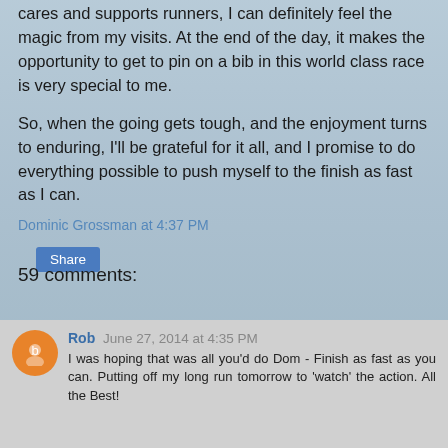cares and supports runners, I can definitely feel the magic from my visits. At the end of the day, it makes the opportunity to get to pin on a bib in this world class race is very special to me.
So, when the going gets tough, and the enjoyment turns to enduring, I'll be grateful for it all, and I promise to do everything possible to push myself to the finish as fast as I can.
Dominic Grossman at 4:37 PM
Share
59 comments:
Rob  June 27, 2014 at 4:35 PM
I was hoping that was all you'd do Dom - Finish as fast as you can. Putting off my long run tomorrow to 'watch' the action. All the Best!